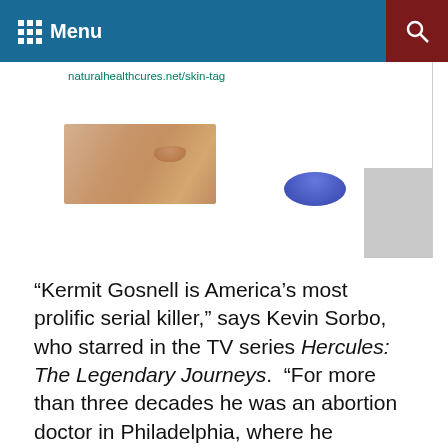Menu
[Figure (photo): Partial screenshot of a webpage showing a URL 'naturalhealthcures.net/skin-tag' and a photo of skin with a skin tag, plus a partial blue shape, with a grey scroll indicator in corner.]
“Kermit Gosnell is America’s most prolific serial killer,” says Kevin Sorbo, who starred in the TV series Hercules: The Legendary Journeys. “For more than three decades he was an abortion doctor in Philadelphia, where he delivered